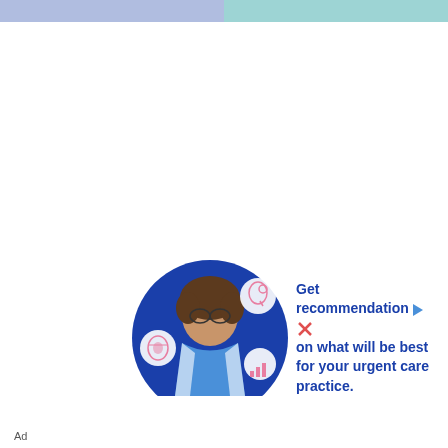[Figure (photo): Circular photo of a female doctor/nurse with curly brown hair and glasses wearing a blue top, with medical-themed icons (microscope, chart) floating around her on a dark blue circular background]
Get recommendations on what will be best for your urgent care practice.
Ad